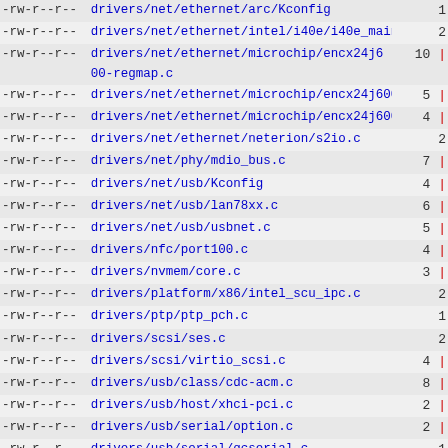| permissions | path | count |
| --- | --- | --- |
| -rw-r--r-- | drivers/net/ethernet/arc/Kconfig | 1 |
| -rw-r--r-- | drivers/net/ethernet/intel/i40e/i40e_main.c | 2 |
| -rw-r--r-- | drivers/net/ethernet/microchip/encx24j600-regmap.c | 10 | |
| -rw-r--r-- | drivers/net/ethernet/microchip/encx24j600.c | 5 | |
| -rw-r--r-- | drivers/net/ethernet/microchip/encx24j600_hw.h | 4 | |
| -rw-r--r-- | drivers/net/ethernet/neterion/s2io.c | 2 |
| -rw-r--r-- | drivers/net/phy/mdio_bus.c | 7 | |
| -rw-r--r-- | drivers/net/usb/Kconfig | 4 | |
| -rw-r--r-- | drivers/net/usb/lan78xx.c | 6 | |
| -rw-r--r-- | drivers/net/usb/usbnet.c | 5 | |
| -rw-r--r-- | drivers/nfc/port100.c | 4 | |
| -rw-r--r-- | drivers/nvmem/core.c | 3 | |
| -rw-r--r-- | drivers/platform/x86/intel_scu_ipc.c | 2 |
| -rw-r--r-- | drivers/ptp/ptp_pch.c | 1 |
| -rw-r--r-- | drivers/scsi/ses.c | 2 |
| -rw-r--r-- | drivers/scsi/virtio_scsi.c | 4 | |
| -rw-r--r-- | drivers/usb/class/cdc-acm.c | 8 | |
| -rw-r--r-- | drivers/usb/host/xhci-pci.c | 2 | |
| -rw-r--r-- | drivers/usb/serial/option.c | 2 | |
| -rw-r--r-- | drivers/usb/serial/qcserial.c | 1 |
| -rw-r--r-- | fs/nfsd/nfs4xdr.c | 19 | |
| -rw-r--r-- | fs/nfsd/nfsctl.c | 5 | |
| -rw-r--r-- | fs/ocfs2/super.c | 14 | |